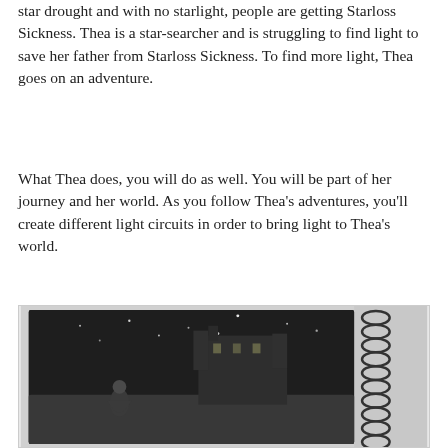star drought and with no starlight, people are getting Starloss Sickness. Thea is a star-searcher and is struggling to find light to save her father from Starloss Sickness. To find more light, Thea goes on an adventure.
What Thea does, you will do as well. You will be part of her journey and her world. As you follow Thea's adventures, you'll create different light circuits in order to bring light to Thea's world.
[Figure (photo): A spiral-bound book opened to a dark illustrated page showing a figure (appearing to be a girl or character) in a night scene with a large castle or building in the background and stars or lights. The image is in black and white/grayscale.]